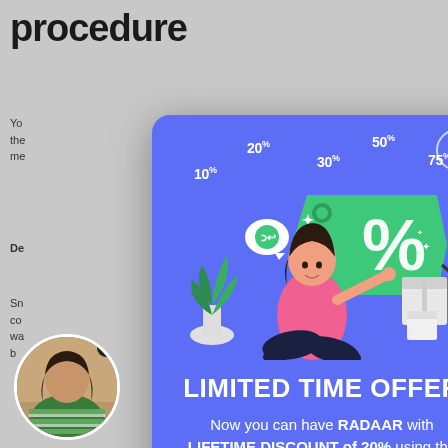procedure
You the me
De s
Sn co wa b
[Figure (screenshot): A popup modal with blue/purple background showing a LIMITED TIME OFFER promotion for RADAAR with a LIFETIME DISCOUNT of 20%, featuring an illustration of a woman with a percent tag, various percentage labels (10%, 20%, 30%, 50%, 75%), a countdown timer showing 00:13:24:35, and a small circular video thumbnail of a person in the bottom left corner.]
LIMITED TIME OFFER
Now you can have RADAAR with LIFETIME DISCOUNT of 20% using the promo code we just offer you!
00:13:24:35